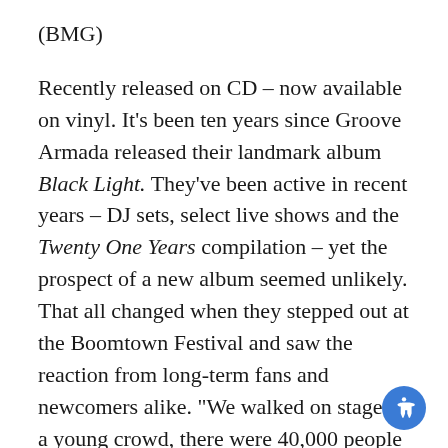(BMG)
Recently released on CD – now available on vinyl. It’s been ten years since Groove Armada released their landmark album Black Light. They’ve been active in recent years – DJ sets, select live shows and the Twenty One Years compilation – yet the prospect of a new album seemed unlikely. That all changed when they stepped out at the Boomtown Festival and saw the reaction from long-term fans and newcomers alike. “We walked on stage to a young crowd, there were 40,000 people there,” notes Cato. “We had the most amazing Hollywood Bowl type view from the